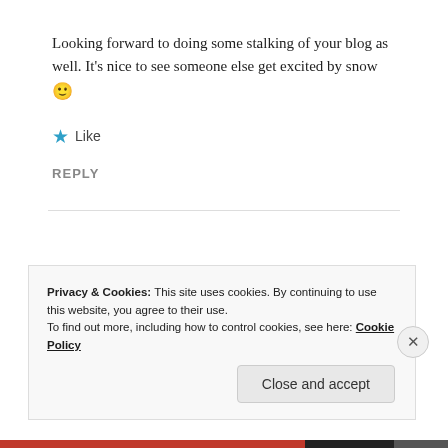Looking forward to doing some stalking of your blog as well. It’s nice to see someone else get excited by snow 🙂
★ Like
REPLY
Privacy & Cookies: This site uses cookies. By continuing to use this website, you agree to their use.
To find out more, including how to control cookies, see here: Cookie Policy
Close and accept